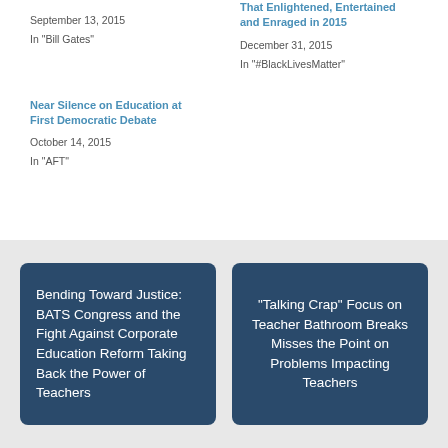September 13, 2015
In "Bill Gates"
That Enlightened, Entertained and Enraged in 2015
December 31, 2015
In "#BlackLivesMatter"
Near Silence on Education at First Democratic Debate
October 14, 2015
In "AFT"
Bending Toward Justice: BATS Congress and the Fight Against Corporate Education Reform Taking Back the Power of Teachers
“Talking Crap” Focus on Teacher Bathroom Breaks Misses the Point on Problems Impacting Teachers